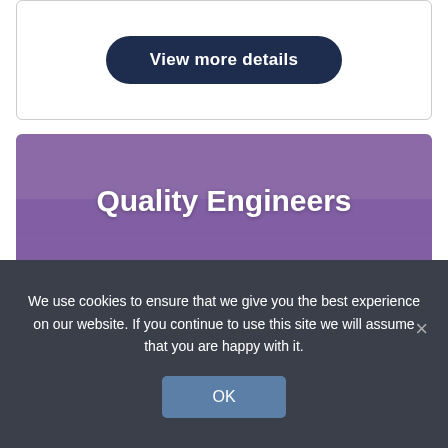[Figure (other): Button card with 'View more details' button on white rounded card]
[Figure (illustration): Engineering/blueprint background image with purple overlay showing technical drawings and a hand holding a compass/caliper, with 'Quality Engineers' text overlay]
Quality Engineers
We use cookies to ensure that we give you the best experience on our website. If you continue to use this site we will assume that you are happy with it.